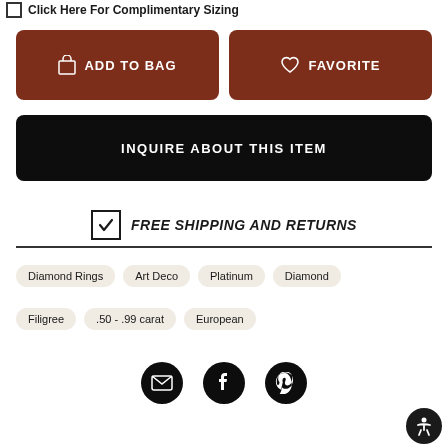Click Here For Complimentary Sizing
ADD TO BAG
FAVORITE
INQUIRE ABOUT THIS ITEM
FREE SHIPPING AND RETURNS
Diamond Rings
Art Deco
Platinum
Diamond
Filigree
.50 - .99 carat
European